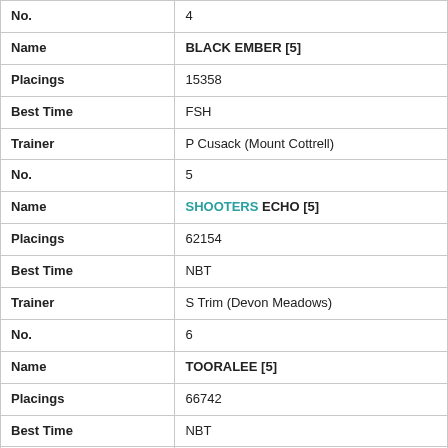| Field | Value |
| --- | --- |
| No. | 4 |
| Name | BLACK EMBER [5] |
| Placings | 15358 |
| Best Time | FSH |
| Trainer | P Cusack (Mount Cottrell) |
| No. | 5 |
| Name | SHOOTERS ECHO [5] |
| Placings | 62154 |
| Best Time | NBT |
| Trainer | S Trim (Devon Meadows) |
| No. | 6 |
| Name | TOORALEE [5] |
| Placings | 66742 |
| Best Time | NBT |
| Trainer | S Stefanos (Longwood) |
| No. | 7 |
| Name | DROP A CLANGER (NSW)[5] |